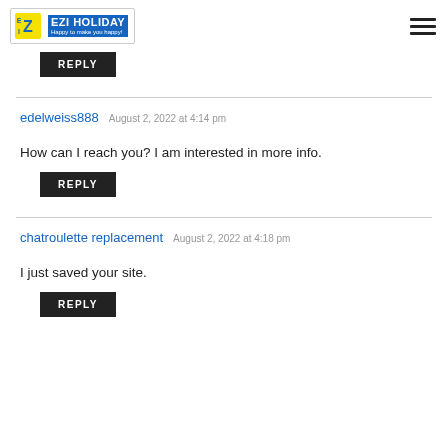EZI HOLIDAY Happy to make you happy!
REPLY
edelweiss888  August 2, 2022 at 4:14 pm
How can I reach you? I am interested in more info.
REPLY
chatroulette replacement  August 2, 2022 at 4:18 pm
I just saved your site.
REPLY